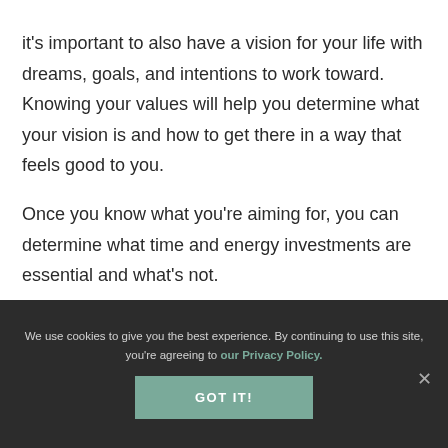it's important to also have a vision for your life with dreams, goals, and intentions to work toward. Knowing your values will help you determine what your vision is and how to get there in a way that feels good to you.
Once you know what you're aiming for, you can determine what time and energy investments are essential and what's not.
We use cookies to give you the best experience. By continuing to use this site, you're agreeing to our Privacy Policy. GOT IT!